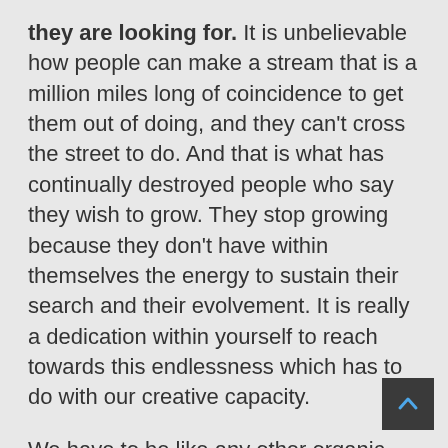they are looking for. It is unbelievable how people can make a stream that is a million miles long of coincidence to get them out of doing, and they can't cross the street to do. And that is what has continually destroyed people who say they wish to grow. They stop growing because they don't have within themselves the energy to sustain their search and their evolvement. It is really a dedication within yourself to reach towards this endlessness which has to do with our creative capacity.
We have to be like any other organic thing that lives. We have to live fresh every day. Not try to live in the past, but really open and allow this energy to come into us and allow ourselves to burn out whatever was. We take in this energy and loosen up deeply within ourselves. We free ourselves from this unconsciousness that's so strongly embedded within us, and we find that we